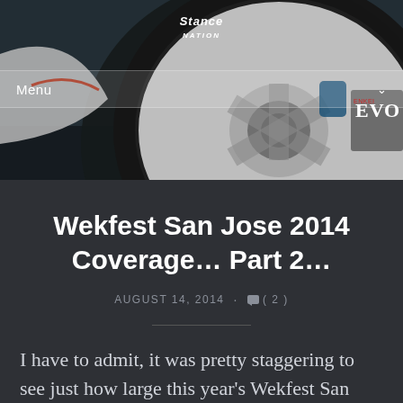[Figure (photo): Hero image of a white car wheel/rim with EVO branding visible, dark background, close-up automotive photography]
Menu
Wekfest San Jose 2014 Coverage… Part 2…
AUGUST 14, 2014 · (2)
I have to admit, it was pretty staggering to see just how large this year's Wekfest San